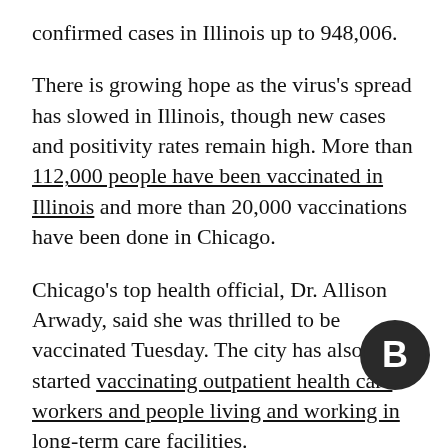confirmed cases in Illinois up to 948,006.
There is growing hope as the virus’s spread has slowed in Illinois, though new cases and positivity rates remain high. More than 112,000 people have been vaccinated in Illinois and more than 20,000 vaccinations have been done in Chicago.
Chicago’s top health official, Dr. Allison Arwady, said she was thrilled to be vaccinated Tuesday. The city has also started vaccinating outpatient health care workers and people living and working in long-term care facilities.
“Every person, every vaccine that we give here in Chicago takes us one step closer to normal,” Arwady said during her public vaccination. “It is a